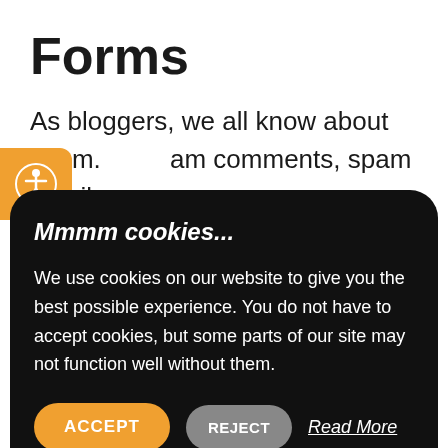Forms
As bloggers, we all know about spam. Spam comments, spam emails, spam everything. But how do you lessen the number of hits you get every single day...
[Figure (infographic): Orange accessibility icon button on the left edge]
[Figure (screenshot): Cookie consent modal overlay with dark background. Title: Mmmm cookies... Body: We use cookies on our website to give you the best possible experience. You do not have to accept cookies, but some parts of our site may not function well without them. Buttons: ACCEPT (orange), REJECT (gray), Read More (white italic underlined), Cookie Settings (outlined)]